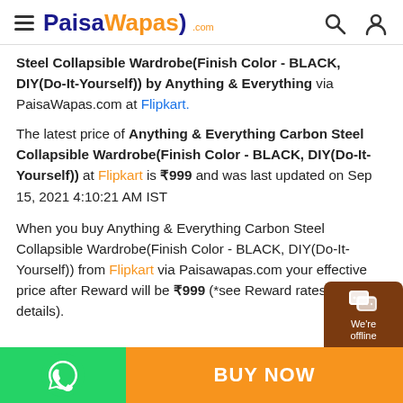PaisaWapas.com
Steel Collapsible Wardrobe(Finish Color - BLACK, DIY(Do-It-Yourself)) by Anything & Everything via PaisaWapas.com at Flipkart.
The latest price of Anything & Everything Carbon Steel Collapsible Wardrobe(Finish Color - BLACK, DIY(Do-It-Yourself)) at Flipkart is ₹999 and was last updated on Sep 15, 2021 4:10:21 AM IST
When you buy Anything & Everything Carbon Steel Collapsible Wardrobe(Finish Color - BLACK, DIY(Do-It-Yourself)) from Flipkart via Paisawapas.com your effective price after Reward will be ₹999 (*see Reward rates for details).
[Figure (screenshot): Bottom bar with WhatsApp icon on green background, BUY NOW button on orange background, and chat bubble with We're offline text on dark brown background]